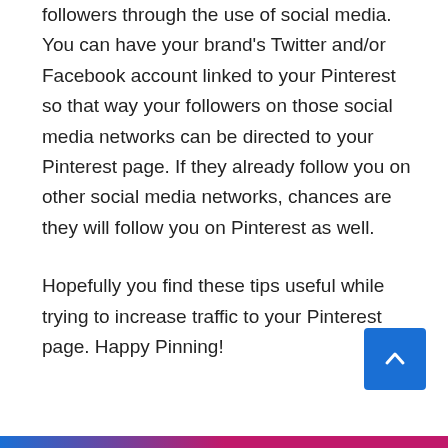followers through the use of social media. You can have your brand's Twitter and/or Facebook account linked to your Pinterest so that way your followers on those social media networks can be directed to your Pinterest page. If they already follow you on other social media networks, chances are they will follow you on Pinterest as well.
Hopefully you find these tips useful while trying to increase traffic to your Pinterest page. Happy Pinning!